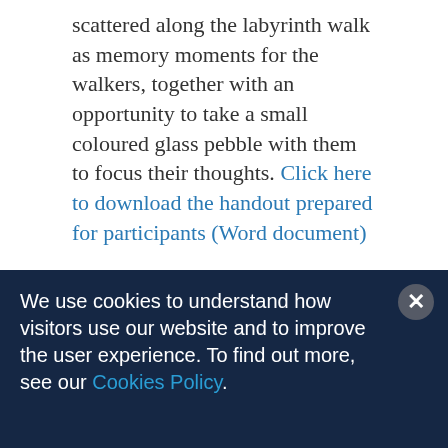scattered along the labyrinth walk as memory moments for the walkers, together with an opportunity to take a small coloured glass pebble with them to focus their thoughts. Click here to download the handout prepared for participants (Word document)
[Figure (photo): Interior of a church showing altar, pews, stained glass windows in the background, dark atmospheric lighting]
We use cookies to understand how visitors use our website and to improve the user experience. To find out more, see our Cookies Policy.